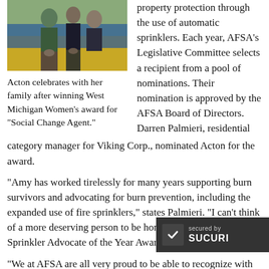[Figure (photo): Photo of Acton celebrating with her family after winning West Michigan Women's award for Social Change Agent.]
Acton celebrates with her family after winning West Michigan Women's award for “Social Change Agent.”
property protection through the use of automatic sprinklers. Each year, AFSA’s Legislative Committee selects a recipient from a pool of nominations. Their nomination is approved by the AFSA Board of Directors. Darren Palmieri, residential category manager for Viking Corp., nominated Acton for the award.
“Amy has worked tirelessly for many years supporting burn survivors and advocating for burn prevention, including the expanded use of fire sprinklers,” states Palmieri. “I can’t think of a more deserving person to be honored with the 2019 Sprinkler Advocate of the Year Award.”
“We at AFSA are all very proud to be able to recognize with our Fire Sprinkler Advocate of the Year a… AFSA Chairman of the Board Wayne Weisz, Cen-Cal Fire…
[Figure (logo): Sucuri security badge overlay with checkmark and 'secured by SUCURI' text]